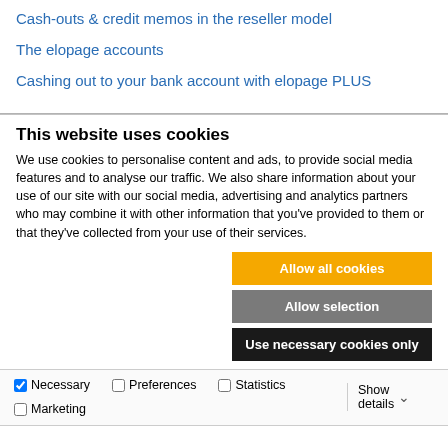Cash-outs & credit memos in the reseller model
The elopage accounts
Cashing out to your bank account with elopage PLUS
This website uses cookies
We use cookies to personalise content and ads, to provide social media features and to analyse our traffic. We also share information about your use of our site with our social media, advertising and analytics partners who may combine it with other information that you've provided to them or that they've collected from your use of their services.
Allow all cookies
Allow selection
Use necessary cookies only
Necessary  Preferences  Statistics  Marketing  Show details